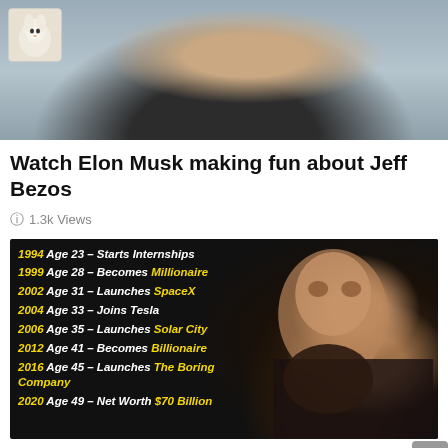[Figure (photo): Cropped photo of a man (Jeff Bezos or similar) from shoulders up, with a small alpaca thumbnail in the top-left corner]
Watch Elon Musk making fun about Jeff Bezos
1.3k Views
[Figure (infographic): Dark background infographic showing Elon Musk timeline milestones with yellow bold text on left and photo of Elon Musk on right: 1994 Age 23 - Starts Internships; 1999 Age 28 - Becomes Millionaire; 2002 Age 31 - Launches SpaceX; 2004 Age 33 - Joins Tesla; 2006 Age 35 - Launches Solar City; 2012 Age 41 - Becomes Billionaire; 2016 Age 45 - Launches The Boring Company; 2020 Age 49 - Net Worth $70 Billion]
Elon Musk – From $14/Hour in 1990 to